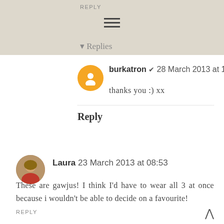REPLY
▾ Replies
burkatron ✔ 28 March 2013 at 14:13
thanks you :) xx
Reply
Laura 23 March 2013 at 08:53
These are gawjus! I think I'd have to wear all 3 at once because i wouldn't be able to decide on a favourite!
REPLY
▾ Replies